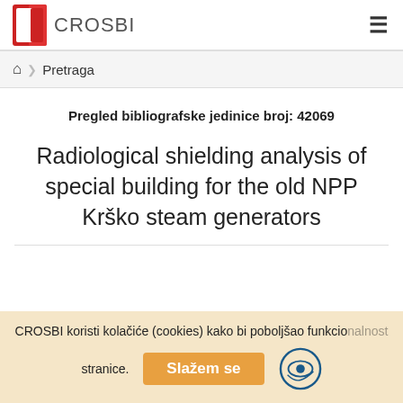CROSBI
Pretraga
Pregled bibliografske jedinice broj: 42069
Radiological shielding analysis of special building for the old NPP Krško steam generators
CROSBI koristi kolačiće (cookies) kako bi poboljšao funkcionalnost stranice.
Slažem se